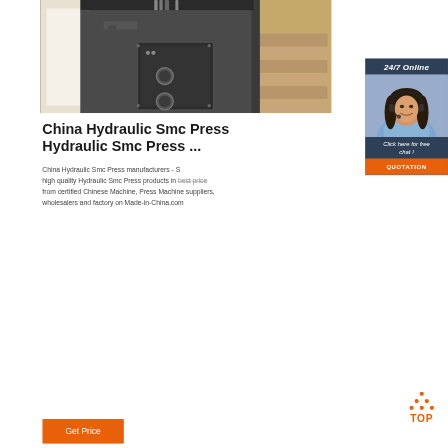[Figure (photo): Close-up photo of a hydraulic SMC press machine with metal components, hydraulic fittings and cylinders visible. Background shows stacked materials.]
[Figure (photo): 24/7 Online customer service agent - woman with headset smiling, overlaid on dark blue panel with 'Click here for free chat!' text and QUOTATION button.]
China Hydraulic Smc Press Hydraulic Smc Press ...
China Hydraulic Smc Press manufacturers - Select high quality Hydraulic Smc Press products in best price from certified Chinese Machine, Press Machine suppliers, wholesalers and factory on Made-in-China.com
[Figure (other): TOP navigation button with orange dot pattern above orange TOP text]
Get Price